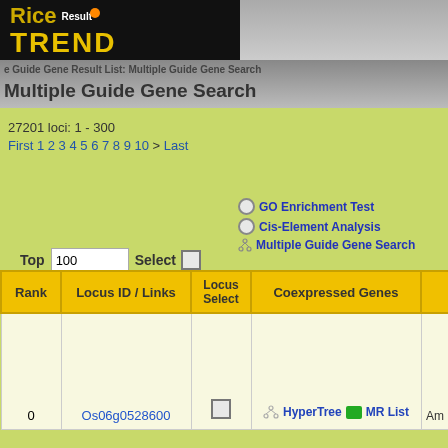[Figure (screenshot): RiceXPro / TREND application header with logo and navigation bar showing 'Guide Gene Search' interface]
27201 loci: 1 - 300
First 1 2 3 4 5 6 7 8 9 10 > Last
GO Enrichment Test
Cis-Element Analysis
Multiple Guide Gene Search
Top 100 Select
| Rank | Locus ID / Links | Locus Select | Coexpressed Genes |  |
| --- | --- | --- | --- | --- |
| 0 | Os06g0528600 |  | HyperTree  MR List | Am |